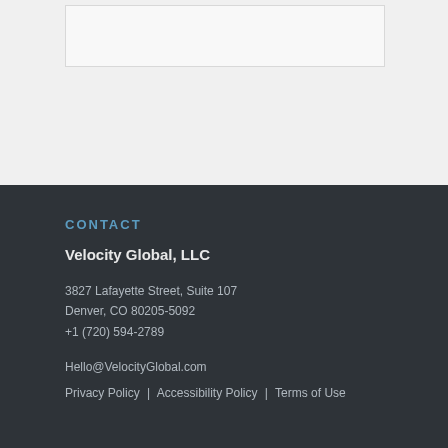CONTACT
Velocity Global, LLC
3827 Lafayette Street, Suite 107
Denver, CO 80205-5092
+1 (720) 594-2789
Hello@VelocityGlobal.com
Privacy Policy | Accessibility Policy | Terms of Use